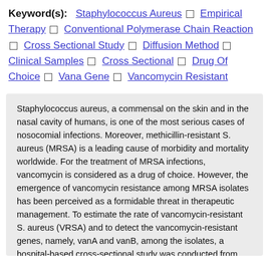Keyword(s): Staphylococcus Aureus □ Empirical Therapy □ Conventional Polymerase Chain Reaction □ Cross Sectional Study □ Diffusion Method □ Clinical Samples □ Cross Sectional □ Drug Of Choice □ Vana Gene □ Vancomycin Resistant
Staphylococcus aureus, a commensal on the skin and in the nasal cavity of humans, is one of the most serious cases of nosocomial infections. Moreover, methicillin-resistant S. aureus (MRSA) is a leading cause of morbidity and mortality worldwide. For the treatment of MRSA infections, vancomycin is considered as a drug of choice. However, the emergence of vancomycin resistance among MRSA isolates has been perceived as a formidable threat in therapeutic management. To estimate the rate of vancomycin-resistant S. aureus (VRSA) and to detect the vancomycin-resistant genes, namely, vanA and vanB, among the isolates, a hospital-based cross-sectional study was conducted from July to December 2018 in Annapurna Neurological Institute and Allied Science, Kathmandu, Nepal. S. aureus was isolated and identified from